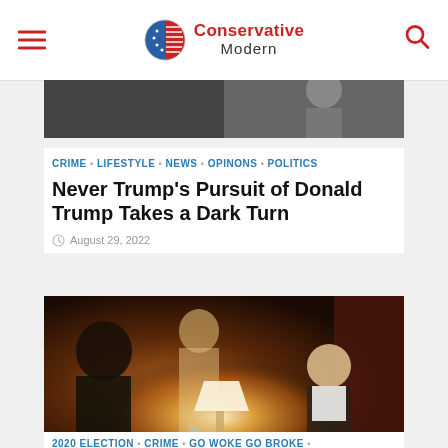Conservative Modern
[Figure (photo): Partial photo of a person at top of article, cropped]
CRIME • LIFESTYLE • NEWS • OPINONS • POLITICS
Never Trump's Pursuit of Donald Trump Takes a Dark Turn
August 29, 2022
[Figure (photo): Dark atmospheric photo of a man sitting on a couch in a dimly lit room with a lamp on a table]
2020 ELECTION • CRIME • GO WOKE GO BROKE •